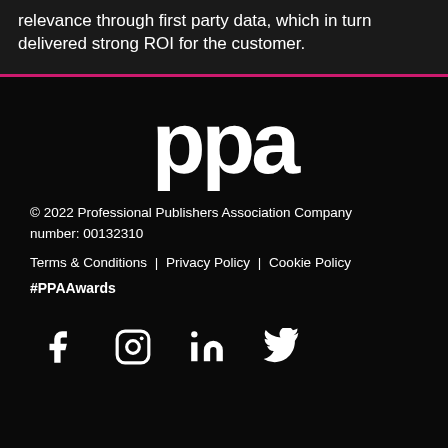relevance through first party data, which in turn delivered strong ROI for the customer.
[Figure (logo): PPA logo — large bold white lowercase 'ppa' text on dark background]
© 2022 Professional Publishers Association Company number: 00132310
Terms & Conditions | Privacy Policy | Cookie Policy
#PPAAwards